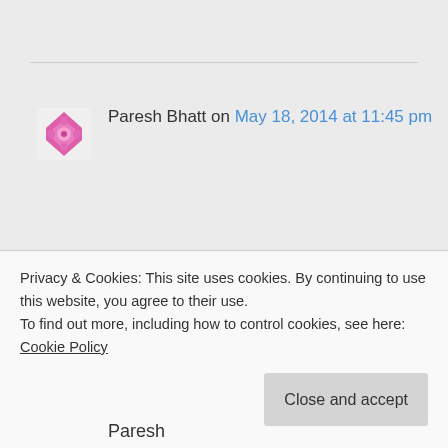[Figure (illustration): Pink/magenta decorative avatar icon with a diamond/cross pattern]
Paresh Bhatt on May 18, 2014 at 11:45 pm
Ooops. I found the problem. It is because you have added SQL parameter. I placed it and now its
Privacy & Cookies: This site uses cookies. By continuing to use this website, you agree to their use.
To find out more, including how to control cookies, see here: Cookie Policy
Close and accept
Paresh